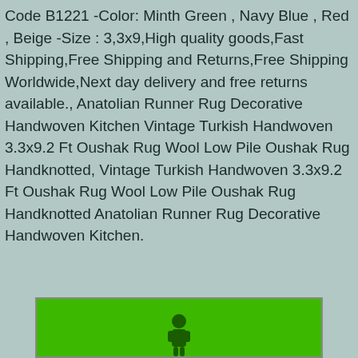Code B1221 -Color: Minth Green , Navy Blue , Red , Beige -Size : 3,3x9,High quality goods,Fast Shipping,Free Shipping and Returns,Free Shipping Worldwide,Next day delivery and free returns available., Anatolian Runner Rug Decorative Handwoven Kitchen Vintage Turkish Handwoven 3.3x9.2 Ft Oushak Rug Wool Low Pile Oushak Rug Handknotted, Vintage Turkish Handwoven 3.3x9.2 Ft Oushak Rug Wool Low Pile Oushak Rug Handknotted Anatolian Runner Rug Decorative Handwoven Kitchen.
[Figure (photo): Partial product image showing a green background with a small dark figure/icon at the bottom, partially cropped.]